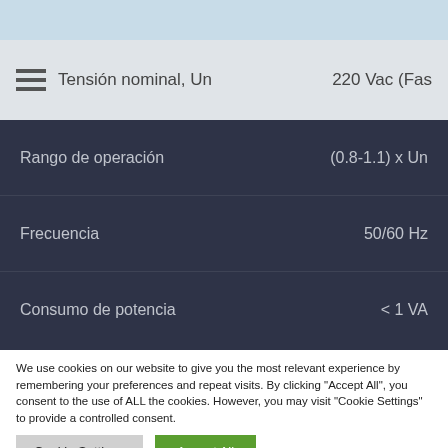| Parameter | Value |
| --- | --- |
| Tensión nominal, Un | 220 Vac (Fas… |
| Rango de operación | (0.8-1.1) x Un |
| Frecuencia | 50/60 Hz |
| Consumo de potencia | < 1 VA |
We use cookies on our website to give you the most relevant experience by remembering your preferences and repeat visits. By clicking "Accept All", you consent to the use of ALL the cookies. However, you may visit "Cookie Settings" to provide a controlled consent.